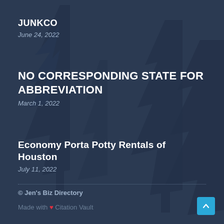JUNKCO
June 24, 2022
NO CORRESPONDING STATE FOR ABBREVIATION
March 1, 2022
Economy Porta Potty Rentals of Houston
July 11, 2022
© Jen's Biz Directory
Made with ❤ Citation Vault